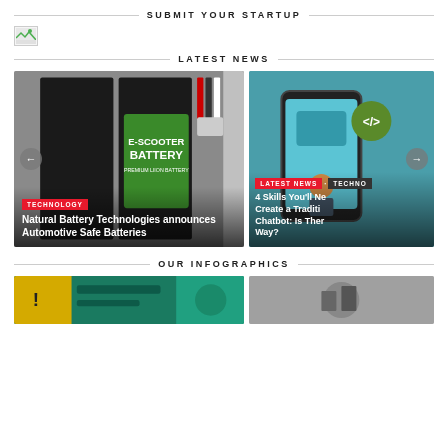SUBMIT YOUR STARTUP
[Figure (logo): Small logo/image placeholder (broken image icon)]
LATEST NEWS
[Figure (photo): E-Scooter Battery product photo with left navigation arrow and article overlay: TECHNOLOGY tag and headline 'Natural Battery Technologies announces Automotive Safe Batteries']
[Figure (photo): Right partially visible card with LATEST NEWS and TECHNO tags, headline '4 Skills You'll Ne... Create a Traditi... Chatbot: Is Ther... Way?' and right navigation arrow]
OUR INFOGRAPHICS
[Figure (photo): Left infographic card showing partial yellow/green image]
[Figure (photo): Right infographic card partial]